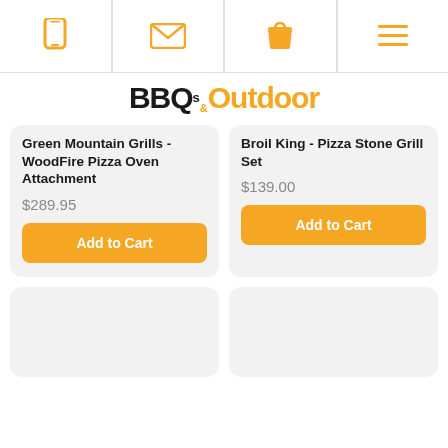Navigation bar with phone, email, cart, and menu icons
BBQs&Outdoor
Green Mountain Grills - WoodFire Pizza Oven Attachment
$289.95
Add to Cart
Broil King - Pizza Stone Grill Set
$139.00
Add to Cart